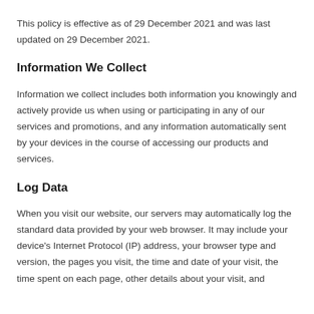This policy is effective as of 29 December 2021 and was last updated on 29 December 2021.
Information We Collect
Information we collect includes both information you knowingly and actively provide us when using or participating in any of our services and promotions, and any information automatically sent by your devices in the course of accessing our products and services.
Log Data
When you visit our website, our servers may automatically log the standard data provided by your web browser. It may include your device's Internet Protocol (IP) address, your browser type and version, the pages you visit, the time and date of your visit, the time spent on each page, other details about your visit, and